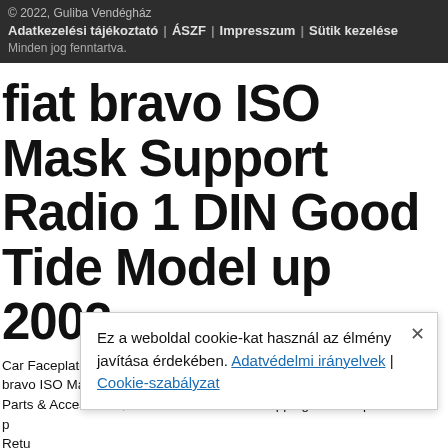© 2022, Guliba Vendégház
Adatkezelési tájékoztató | ÁSZF | Impresszum | Sütik kezelése
Minden jog fenntartva.
fiat bravo ISO Mask Support Radio 1 DIN Good Tide Model up 2002
Car Faceplates & Mounting Frames In-Car Electronics Accessories fiat bravo ISO Mask Support Radio 1 DIN Good Tide Model up 2002 Auto Parts & Accessories, Code: GM 2125 Fast shipping and low prices is the p... Retu... Mode... staff... ISO Mask Support Radio 1 DIN.
Ez a weboldal cookie-kat használ az élmény javítása érdekében. Adatvédelmi irányelvek | Cookie-szabályzat